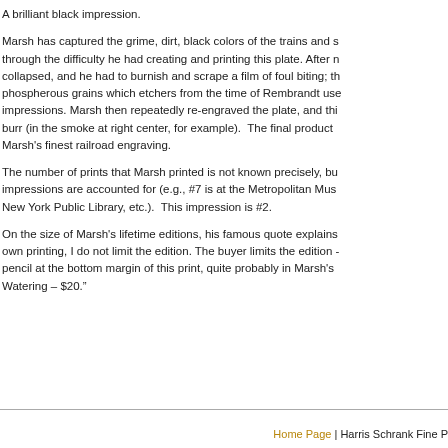A brilliant black impression.
Marsh has captured the grime, dirt, black colors of the trains and s... through the difficulty he had creating and printing this plate. After n... collapsed, and he had to burnish and scrape a film of foul biting; th... phospherous grains which etchers from the time of Rembrandt use... impressions. Marsh then repeatedly re-engraved the plate, and thi... burr (in the smoke at right center, for example).  The final product ... Marsh's finest railroad engraving.
The number of prints that Marsh printed is not known precisely, bu... impressions are accounted for (e.g., #7 is at the Metropolitan Mus... New York Public Library, etc.).  This impression is #2.
On the size of Marsh's lifetime editions, his famous quote explains... own printing, I do not limit the edition. The buyer limits the edition -... pencil at the bottom margin of this print, quite probably in Marsh's... Watering – $20."
Home Page | Harris Schrank Fine P...